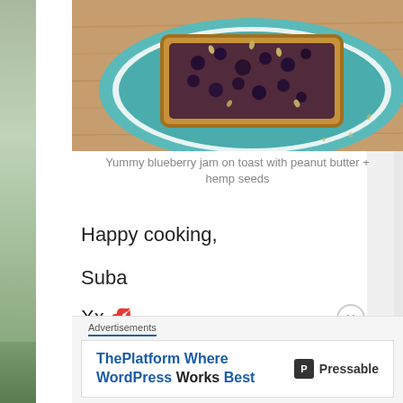[Figure (photo): Photo of blueberry jam on toast with peanut butter and hemp seeds on a teal plate, placed on a wooden surface.]
Yummy blueberry jam on toast with peanut butter + hemp seeds
Happy cooking,
Suba
Xx 💋
Advertisements
[Figure (screenshot): Advertisement banner: 'ThePlatform Where WordPress Works Best' by Pressable]